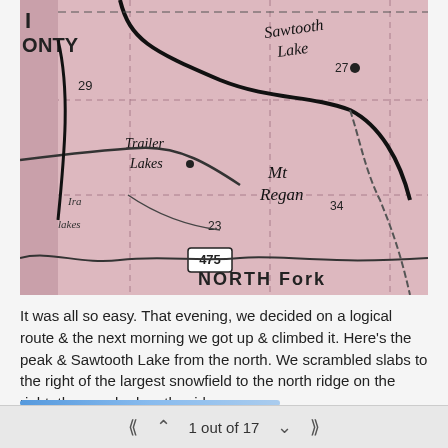[Figure (map): A scanned vintage road/topographic map showing Sawtooth Lake (labeled 'Sawtooth Lake 27'), Trailer Lakes, Mt Regan (labeled 'Mt Regan'), North Fork, highway 475, and county boundary labels 'NTY' and numbers 29, 23, 34. The map has a pink/rose background with black roads, dashed section lines, and hand-lettered place names.]
It was all so easy. That evening, we decided on a logical route & the next morning we got up & climbed it. Here's the peak & Sawtooth Lake from the north. We scrambled slabs to the right of the largest snowfield to the north ridge on the right, then worked up the ridge.
1 out of 17